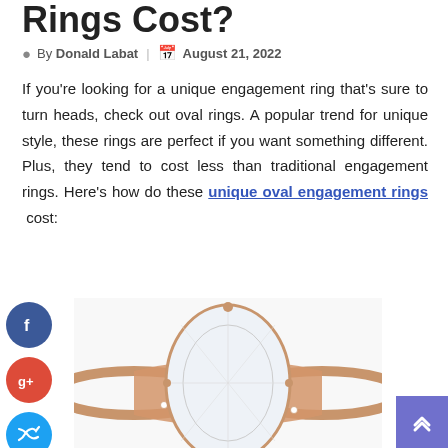Rings Cost?
By Donald Labat | August 21, 2022
If you're looking for a unique engagement ring that's sure to turn heads, check out oval rings. A popular trend for unique style, these rings are perfect if you want something different. Plus, they tend to cost less than traditional engagement rings. Here's how do these unique oval engagement rings cost:
[Figure (photo): A rose gold oval diamond engagement ring with pavé band, photographed from above showing the large oval center stone and thin pavé-set band]
[Figure (other): Social media share buttons: Facebook (blue circle), Google+ (red circle), Twitter (light blue circle), Add/Plus (dark grey circle)]